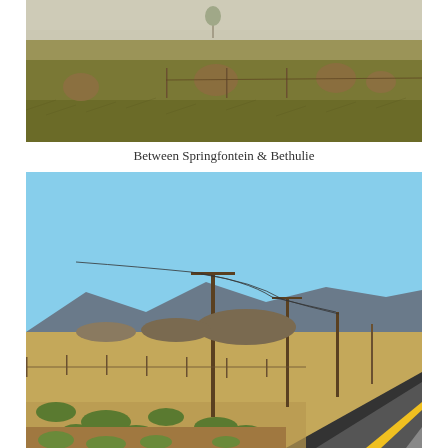[Figure (photo): Landscape photograph of open grassland/scrubland in South Africa, between Springfontein and Bethulie. Dry grass in foreground and middle ground, scattered rounded rocky outcrops, sparse shrubs, fence posts, and a small tree-like plant in the background. Sky is overcast white.]
Between Springfontein & Bethulie
[Figure (photo): Landscape photograph of a rural South African road scene. A straight asphalt road with yellow center line runs diagonally to the right. Sparse karoo scrubland vegetation and gravel verge in foreground. Utility poles with overhead power lines line the road. Rocky hills and mountains visible in background under a clear blue sky.]